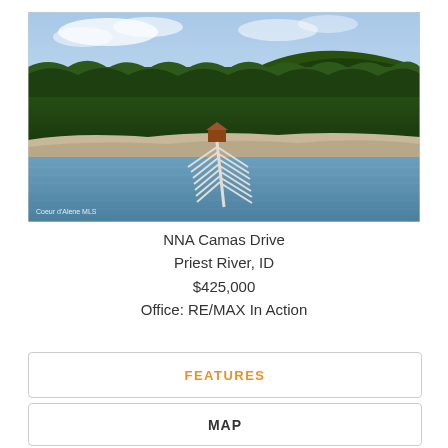[Figure (photo): Aerial view of a lakeside property with a marina/dock extending into the water, surrounded by dense evergreen forest and a mountain in the background. Watermark reads 'Coeur d'Alene MLS'.]
NNA Camas Drive
Priest River, ID
$425,000
Office: RE/MAX In Action
FEATURES
MAP